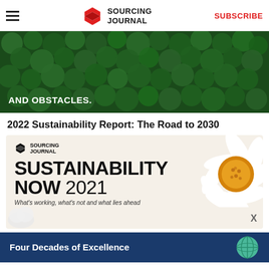Sourcing Journal — SUBSCRIBE
[Figure (photo): Aerial view of dense green moss/trees used as hero banner image with white text overlay reading 'AND OBSTACLES.']
2022 Sustainability Report: The Road to 2030
[Figure (infographic): Sourcing Journal ad card with cream background showing daisy flower, text: SUSTAINABILITY NOW 2021 – What's working, what's not and what lies ahead]
[Figure (infographic): Dark blue banner with text 'Four Decades of Excellence' and a globe icon]